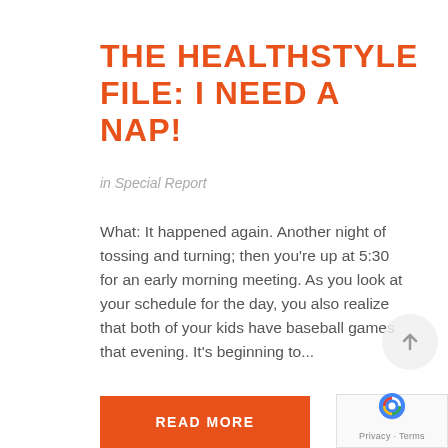THE HEALTHSTYLE FILE: I NEED A NAP!
in Special Report
What: It happened again. Another night of tossing and turning; then you're up at 5:30 for an early morning meeting. As you look at your schedule for the day, you also realize that both of your kids have baseball games that evening. It's beginning to...
READ MORE